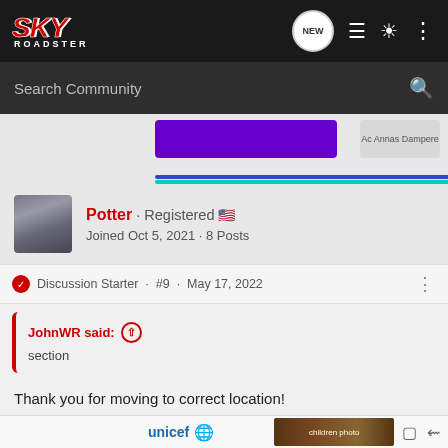SKY ROADSTER — Search Community navigation bar
Search Community
[Figure (screenshot): Partial banner advertisement with purple button and progress bar]
Potter · Registered 🇺🇸
Joined Oct 5, 2021 · 8 Posts
Discussion Starter · #9 · May 17, 2022
JohnWR said: ↑
section
Thank you for moving to correct location!
[Figure (screenshot): UNICEF advertisement with children photo at bottom of page]